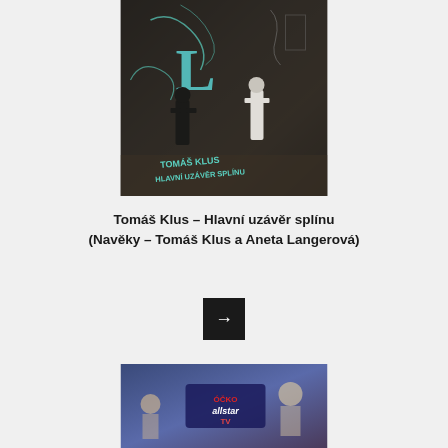[Figure (photo): Album cover art for Tomáš Klus - Hlavní uzávěr splínu, showing illustrated figures in a dark artistic style]
Tomáš Klus – Hlavní uzávěr splínu (Navěky – Tomáš Klus a Aneta Langerová)
[Figure (other): Arrow button pointing right, dark/black background]
[Figure (photo): Óčko Allstar TV show image with multiple people and the Óčko Allstar logo]